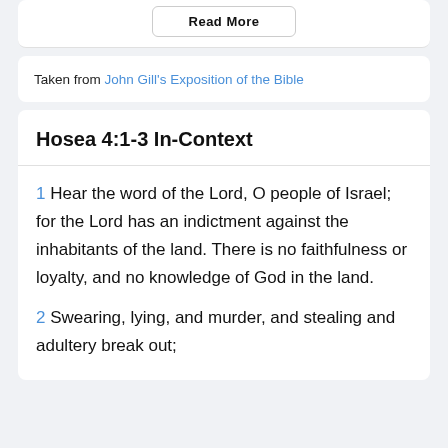Read More
Taken from John Gill's Exposition of the Bible
Hosea 4:1-3 In-Context
1 Hear the word of the Lord, O people of Israel; for the Lord has an indictment against the inhabitants of the land. There is no faithfulness or loyalty, and no knowledge of God in the land.
2 Swearing, lying, and murder, and stealing and adultery break out;